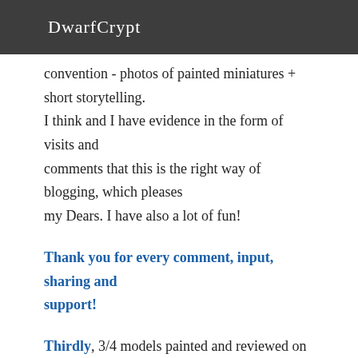DwarfCrypt
convention - photos of painted miniatures + short storytelling. I think and I have evidence in the form of visits and comments that this is the right way of blogging, which pleases my Dears. I have also a lot of fun!
Thank you for every comment, input, sharing and support!
Thirdly, 3/4 models painted and reviewed on the blog comes from great producers who were so nice that they sent their wonderful models!
Thanks to YOU, models and ideas for the next year certainly will not miss here.